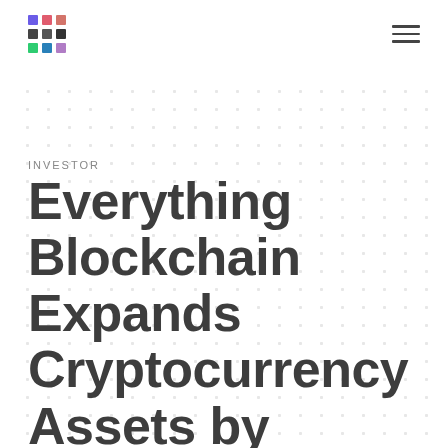INVESTOR
Everything Blockchain Expands Cryptocurrency Assets by Acquiring Bitcoin